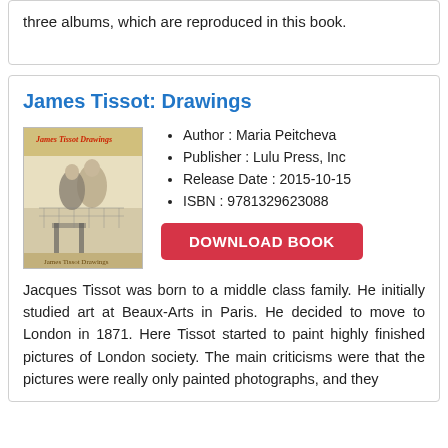three albums, which are reproduced in this book.
James Tissot: Drawings
[Figure (illustration): Book cover of James Tissot: Drawings showing a vintage illustration of two figures]
Author : Maria Peitcheva
Publisher : Lulu Press, Inc
Release Date : 2015-10-15
ISBN : 9781329623088
DOWNLOAD BOOK
Jacques Tissot was born to a middle class family. He initially studied art at Beaux-Arts in Paris. He decided to move to London in 1871. Here Tissot started to paint highly finished pictures of London society. The main criticisms were that the pictures were really only painted photographs, and they